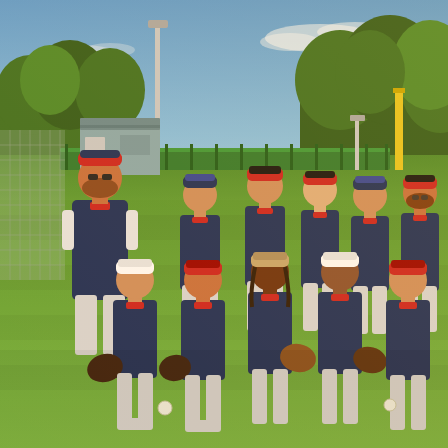[Figure (photo): Youth baseball team photo taken at a baseball field. The team is wearing matching navy blue and white uniforms with red lettering. There are approximately 10-11 young players plus 2 adult coaches. Back row includes coaches and older players standing; front row players are kneeling. Some players hold baseball gloves. The background shows a baseball diamond with green outfield fence, trees, light poles, and a blue sky with wispy clouds. The photo is taken in warm late-afternoon sunlight.]